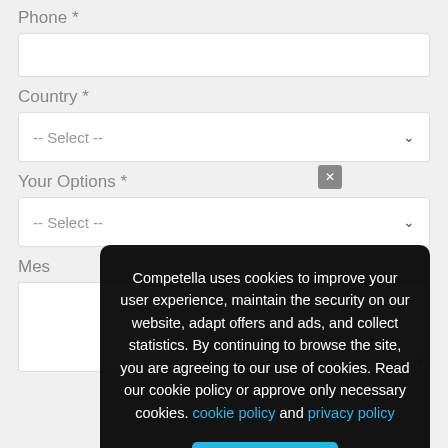Phone *
Country *
Your Options *
Message
Competella uses cookies to improve your user experience, maintain the security on our website, adapt offers and ads, and collect statistics. By continuing to browse the site, you are agreeing to our use of cookies. Read our cookie policy or approve only necessary cookies. cookie policy and privacy policy
I agree